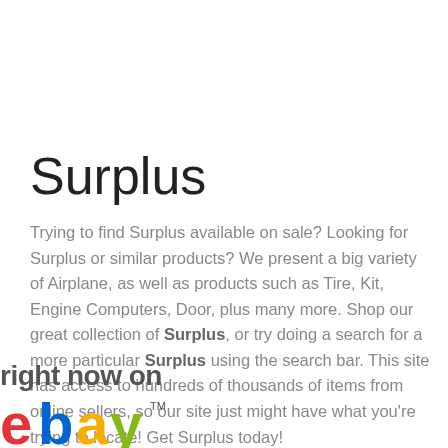Surplus
Trying to find Surplus available on sale? Looking for Surplus or similar products? We present a big variety of Airplane, as well as products such as Tire, Kit, Engine Computers, Door, plus many more. Shop our great collection of Surplus, or try doing a search for a more particular Surplus using the search bar. This site has access to hundreds of thousands of items from online sellers, so our site just might have what you're trying to locate! Get Surplus today!
right now on
[Figure (logo): eBay logo with colored letters e (red), b (blue), a (yellow), y (green) and TM mark]